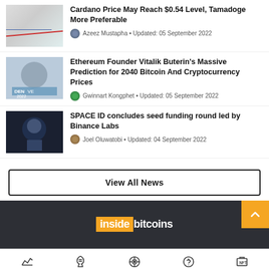Cardano Price May Reach $0.54 Level, Tamadoge More Preferable — Azeez Mustapha • Updated: 05 September 2022
Ethereum Founder Vitalik Buterin's Massive Prediction for 2040 Bitcoin And Cryptocurrency Prices — Gwinnart Kongphet • Updated: 05 September 2022
SPACE ID concludes seed funding round led by Binance Labs — Joel Oluwatobi • Updated: 04 September 2022
View All News
[Figure (logo): insidebitcoins logo with orange background for 'inside' and white text for 'bitcoins']
Staking | Bitcoin | Gaming | Best Coins | Buy NFTs